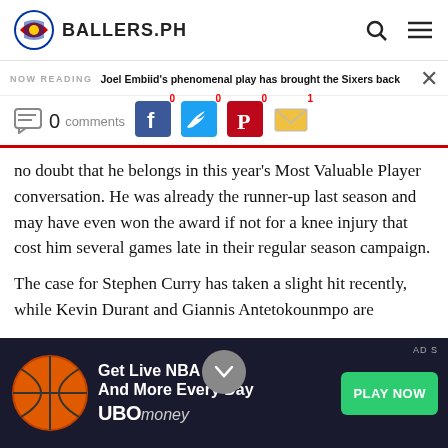BALLERS.PH
NOW READING  Joel Embiid's phenomenal play has brought the Sixers back
0 comments  0  0  0  1
no doubt that he belongs in this year's Most Valuable Player conversation. He was already the runner-up last season and may have even won the award if not for a knee injury that cost him several games late in their regular season campaign.
The case for Stephen Curry has taken a slight hit recently, while Kevin Durant and Giannis Antetokounmpo are
[Figure (infographic): Advertisement banner: Get Live NBA Odds And More Every Day - UBOmoney, with PLAY NOW button and basketball image]